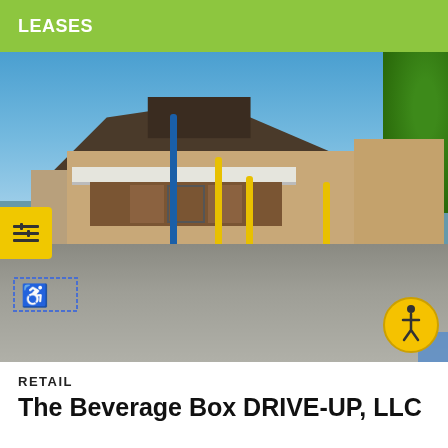LEASES
[Figure (photo): Exterior photo of a commercial retail building with brown/tan brick facade, metal roof, yellow bollards, blue pole, and parking lot with handicap space. Sky is blue with some clouds. Trees visible on right.]
RETAIL
The Beverage Box DRIVE-UP, LLC